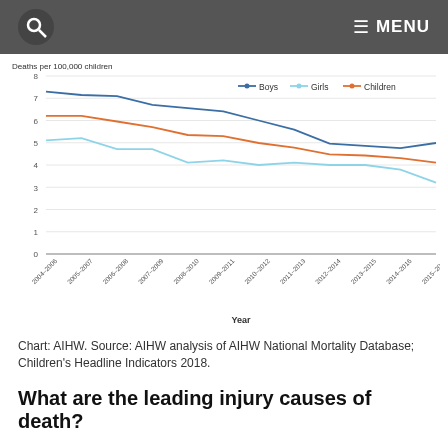MENU
[Figure (line-chart): Deaths per 100,000 children]
Chart: AIHW. Source: AIHW analysis of AIHW National Mortality Database; Children's Headline Indicators 2018.
What are the leading injury causes of death?